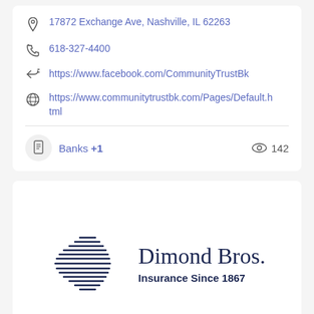17872 Exchange Ave, Nashville, IL 62263
618-327-4400
https://www.facebook.com/CommunityTrustBk
https://www.communitytrustbk.com/Pages/Default.html
Banks +1   142
[Figure (logo): Dimond Bros. Insurance Since 1867 logo with a globe-like horizontal lines graphic on the left and company name and tagline on the right]